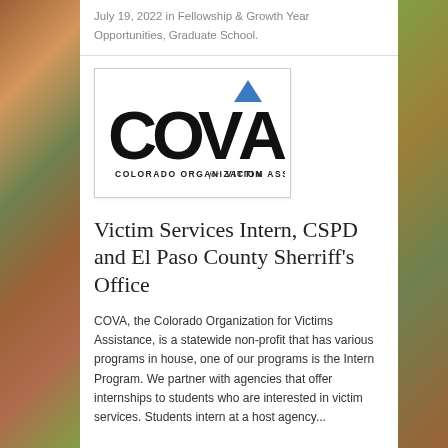July 19, 2022 in Fellowship & Growth Year Opportunities, Graduate School.
[Figure (logo): COVA - Colorado Organization for Victim Assistance logo. Large bold letters C, O, V, A in black with a blue triangle above the A. Subtitle reads: COLORADO ORGANIZATION for VICTIM ASSISTANCE]
Victim Services Intern, CSPD and El Paso County Sherriff's Office
COVA, the Colorado Organization for Victims Assistance, is a statewide non-profit that has various programs in house, one of our programs is the Intern Program. We partner with agencies that offer internships to students who are interested in victim services. Students intern at a host agency...